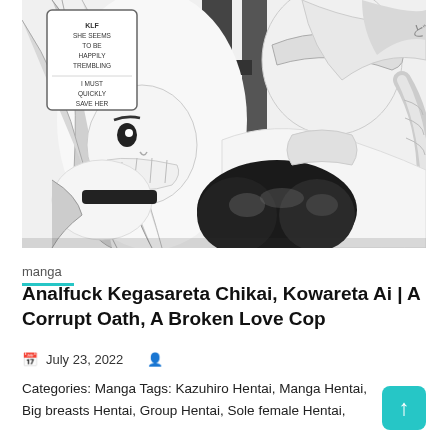[Figure (illustration): Black and white manga illustration showing two female anime characters in a close-up scene. Speech bubble text reads: 'KLF SHE SEEMS TO BE HAPPILY TREMBLING... I MUST QUICKLY SAVE HER'. Japanese characters visible. Characters have light hair and are drawn in detailed manga style.]
manga
Analfuck Kegasareta Chikai, Kowareta Ai | A Corrupt Oath, A Broken Love Cop
July 23, 2022
Categories: Manga Tags: Kazuhiro Hentai, Manga Hentai, Big breasts Hentai, Group Hentai, Sole female Hentai,